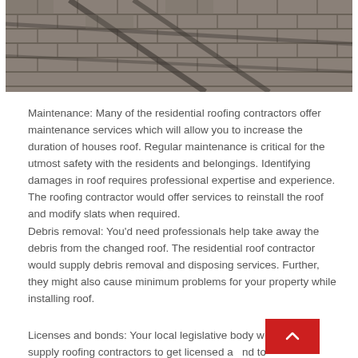[Figure (photo): Aerial or close-up view of a tiled/shingled roof with dark shadows forming a cross/grid pattern across stone or concrete tiles.]
Maintenance: Many of the residential roofing contractors offer maintenance services which will allow you to increase the duration of houses roof. Regular maintenance is critical for the utmost safety with the residents and belongings. Identifying damages in roof requires professional expertise and experience. The roofing contractor would offer services to reinstall the roof and modify slats when required.
Debris removal: You'd need professionals help take away the debris from the changed roof. The residential roof contractor would supply debris removal and disposing services. Further, they might also cause minimum problems for your property while installing roof.
Licenses and bonds: Your local legislative body w... ire both supply roofing contractors to get licensed a... to